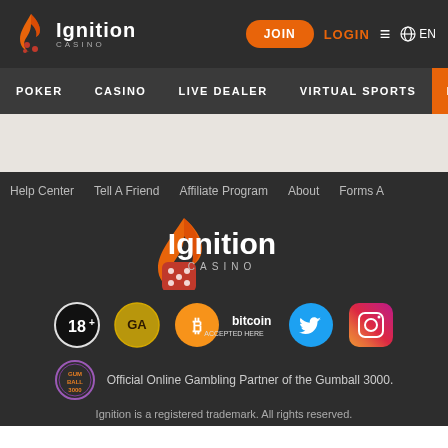[Figure (logo): Ignition Casino logo with flame icon in top navigation bar]
JOIN  LOGIN  ≡  🌐 EN
POKER   CASINO   LIVE DEALER   VIRTUAL SPORTS   PROMOTIONS
Help Center   Tell A Friend   Affiliate Program   About   Forms A
[Figure (logo): Ignition Casino large footer logo with flame icon]
[Figure (infographic): Footer badges: 18+ badge, GA badge, Bitcoin Accepted Here, Twitter icon, Instagram icon]
Official Online Gambling Partner of the Gumball 3000.
Ignition is a registered trademark. All rights reserved.